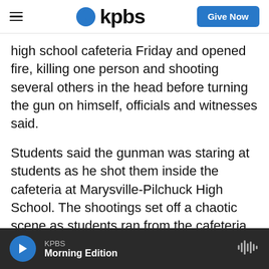KPBS — Give Now
high school cafeteria Friday and opened fire, killing one person and shooting several others in the head before turning the gun on himself, officials and witnesses said.
Students said the gunman was staring at students as he shot them inside the cafeteria at Marysville-Pilchuck High School. The shootings set off a chaotic scene as students ran from the cafeteria and building in a frantic dash to safety while others were told to stay put inside classrooms at the school, 30 miles north of Seattle.
KPBS Morning Edition